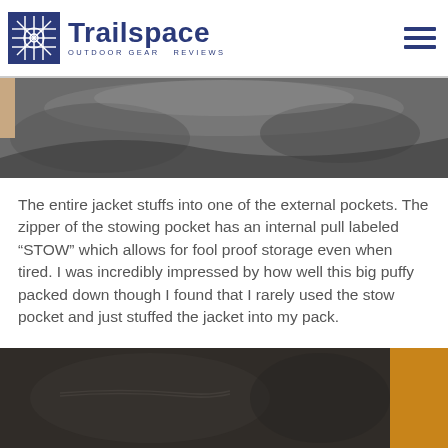Trailspace — Outdoor Gear Reviews
[Figure (photo): Close-up photo of a dark jacket fabric showing the interior mesh/lining and folded material]
The entire jacket stuffs into one of the external pockets. The zipper of the stowing pocket has an internal pull labeled "STOW" which allows for fool proof storage even when tired. I was incredibly impressed by how well this big puffy packed down though I found that I rarely used the stow pocket and just stuffed the jacket into my pack.
[Figure (photo): Close-up photo of dark jacket fabric surface with an orange background on the right side]